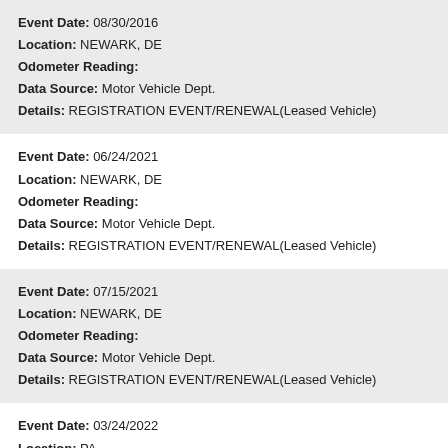Event Date: 08/30/2016
Location: NEWARK, DE
Odometer Reading:
Data Source: Motor Vehicle Dept.
Details: REGISTRATION EVENT/RENEWAL(Leased Vehicle)
Event Date: 06/24/2021
Location: NEWARK, DE
Odometer Reading:
Data Source: Motor Vehicle Dept.
Details: REGISTRATION EVENT/RENEWAL(Leased Vehicle)
Event Date: 07/15/2021
Location: NEWARK, DE
Odometer Reading:
Data Source: Motor Vehicle Dept.
Details: REGISTRATION EVENT/RENEWAL(Leased Vehicle)
Event Date: 03/24/2022
Location: PA
Odometer Reading: 56,692